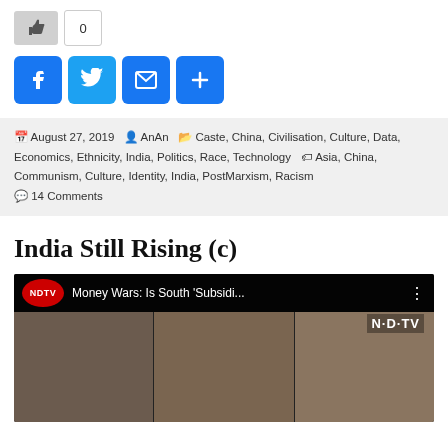[Figure (infographic): Like button with count 0 and social share buttons: Facebook, Twitter, Email, and More (+)]
August 27, 2019  AnAn  Caste, China, Civilisation, Culture, Data, Economics, Ethnicity, India, Politics, Race, Technology  Asia, China, Communism, Culture, Identity, India, PostMarxism, Racism  14 Comments
India Still Rising (c)
[Figure (screenshot): NDTV YouTube video thumbnail titled 'Money Wars: Is South Subsidi...' showing three people's faces side by side with NDTV logo]